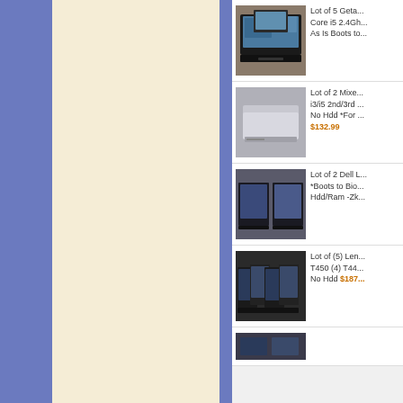[Figure (photo): Product listing thumbnail: 5 laptops stacked open showing screens]
Lot of 5 Geta... Core i5 2.4GH... As Is Boots to...
[Figure (photo): Product listing thumbnail: 2 closed laptops stacked on shelf]
Lot of 2 Mixe... i3/i5 2nd/3rd ... No Hdd *For ... $132.99
[Figure (photo): Product listing thumbnail: 2 Dell laptops open side by side]
Lot of 2 Dell L... *Boots to Bio... Hdd/Ram -Zk...
[Figure (photo): Product listing thumbnail: 5 Lenovo laptops open in a row]
Lot of (5) Len... T450 (4) T44... No Hdd $187...
[Figure (photo): Product listing thumbnail: partially visible laptops at bottom]